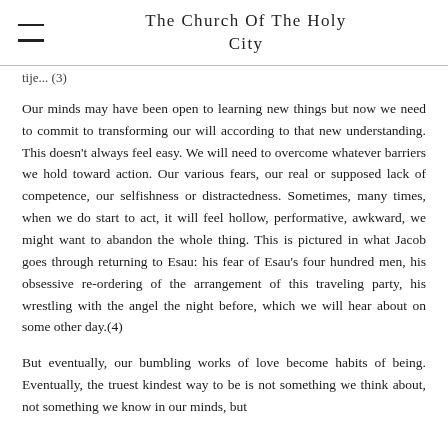The Church Of The Holy City
tije... (3)
Our minds may have been open to learning new things but now we need to commit to transforming our will according to that new understanding. This doesn't always feel easy. We will need to overcome whatever barriers we hold toward action. Our various fears, our real or supposed lack of competence, our selfishness or distractedness. Sometimes, many times, when we do start to act, it will feel hollow, performative, awkward, we might want to abandon the whole thing. This is pictured in what Jacob goes through returning to Esau: his fear of Esau's four hundred men, his obsessive re-ordering of the arrangement of this traveling party, his wrestling with the angel the night before, which we will hear about on some other day.(4)
But eventually, our bumbling works of love become habits of being. Eventually, the truest kindest way to be is not something we think about, not something we know in our minds, but